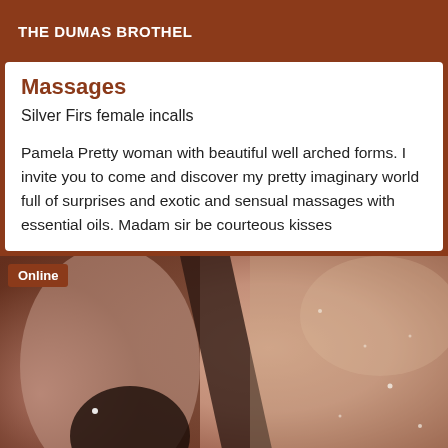THE DUMAS BROTHEL
Massages
Silver Firs female incalls
Pamela Pretty woman with beautiful well arched forms. I invite you to come and discover my pretty imaginary world full of surprises and exotic and sensual massages with essential oils. Madam sir be courteous kisses
[Figure (photo): Photo of a woman in dim atmospheric lighting with bokeh sparkle effects, an 'Online' badge in the top-left corner over a brown background.]